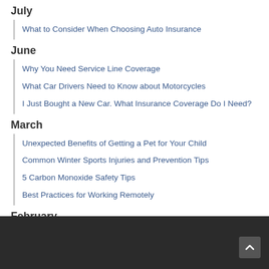July
What to Consider When Choosing Auto Insurance
June
Why You Need Service Line Coverage
What Car Drivers Need to Know about Motorcycles
I Just Bought a New Car. What Insurance Coverage Do I Need?
March
Unexpected Benefits of Getting a Pet for Your Child
Common Winter Sports Injuries and Prevention Tips
5 Carbon Monoxide Safety Tips
Best Practices for Working Remotely
February
How to Protect Your Classic Car
Winter Auto Safety Checklist